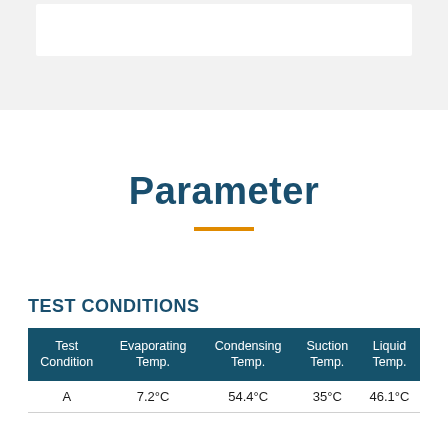Parameter
TEST CONDITIONS
| Test Condition | Evaporating Temp. | Condensing Temp. | Suction Temp. | Liquid Temp. |
| --- | --- | --- | --- | --- |
| A | 7.2°C | 54.4°C | 35°C | 46.1°C |